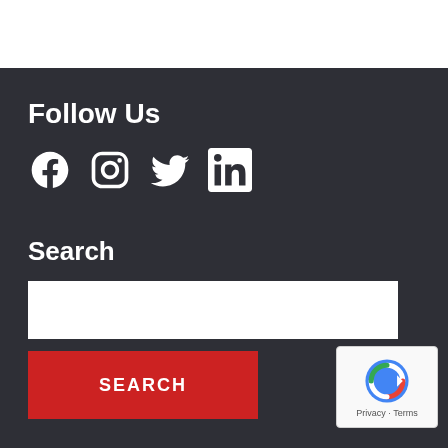Follow Us
[Figure (illustration): Social media icons: Facebook, Instagram, Twitter, LinkedIn in white on dark background]
Search
[Figure (screenshot): White search input box followed by a red SEARCH button and a reCAPTCHA widget in the bottom right corner]